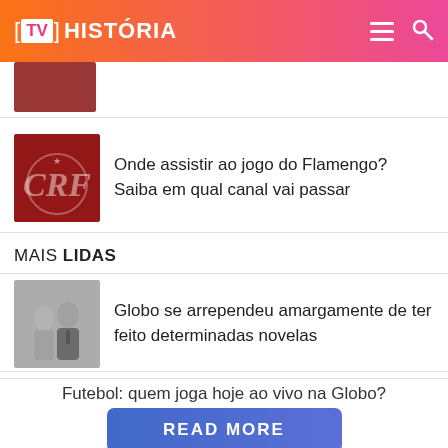[TV] HISTÓRIA
[Figure (photo): Partial article thumbnail at top]
Onde assistir ao jogo do Flamengo? Saiba em qual canal vai passar
MAIS LIDAS
[Figure (photo): Two people (man and woman) in formal attire, for novela article]
Globo se arrependeu amargamente de ter feito determinadas novelas
Futebol: quem joga hoje ao vivo na Globo?
READ MORE
on Newz Online